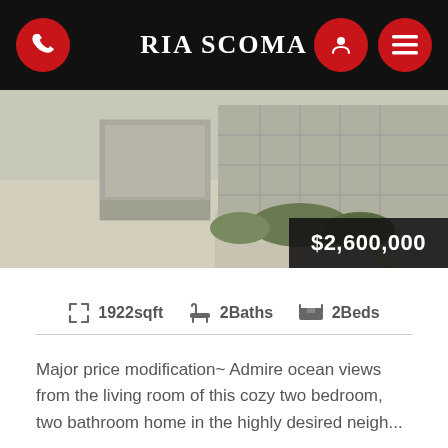RIA SCOMA
[Figure (photo): Exterior photo of a home with stone walls, driveway, and landscaping. A price badge overlay shows $2,600,000.]
1922sqft   2Baths   2Beds
Major price modification~ Admire ocean views from the living room of this cozy two bedroom, two bathroom home in the highly desired neigh...